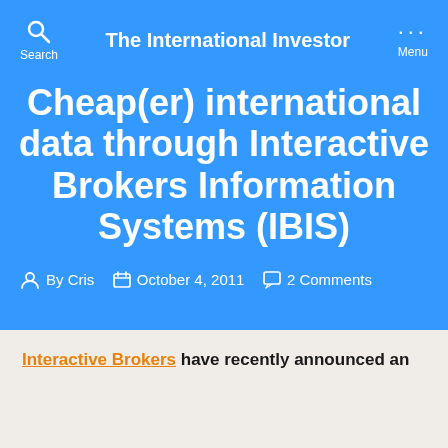The International Investor
Cheap(er) international data through Interactive Brokers Information Systems (IBIS)
By Cris  October 4, 2011  2 Comments
Interactive Brokers have recently announced an